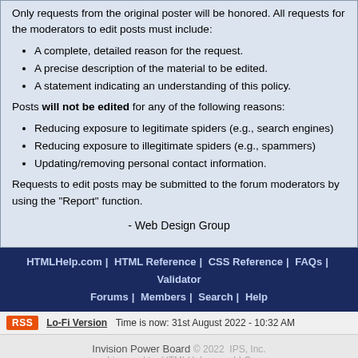Only requests from the original poster will be honored. All requests for the moderators to edit posts must include:
A complete, detailed reason for the request.
A precise description of the material to be edited.
A statement indicating an understanding of this policy.
Posts will not be edited for any of the following reasons:
Reducing exposure to legitimate spiders (e.g., search engines)
Reducing exposure to illegitimate spiders (e.g., spammers)
Updating/removing personal contact information.
Requests to edit posts may be submitted to the forum moderators by using the "Report" function.
- Web Design Group
HTMLHelp.com | HTML Reference | CSS Reference | FAQs | Validator
Forums | Members | Search | Help
RSS  Lo-Fi Version  Time is now: 31st August 2022 - 10:32 AM
Invision Power Board © 2022  IPS, Inc.
Licensed to: HTMLHelp.com, LLC